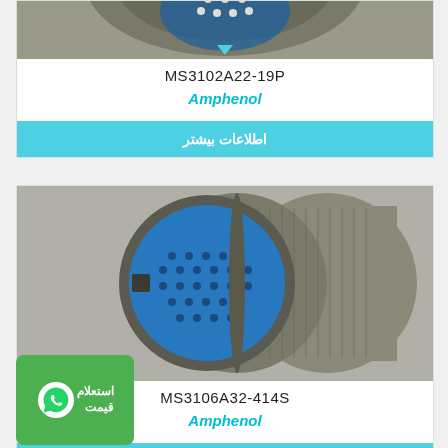[Figure (photo): Partial top view of a cylindrical military connector (MS3102A22-19P), showing threaded metal body with pin contacts visible]
MS3102A22-19P
Amphenol
اطلاعات بیشتر
[Figure (photo): Military circular connector MS3106A32-414S by Amphenol, showing blue insert face with multiple pin holes and knurled metal shell coupling ring]
MS3106A32-414S
Amphenol
اطلاعات بیشتر
[Figure (infographic): WhatsApp price inquiry badge in green showing WhatsApp logo and Persian text استعلام قیمت (price inquiry)]